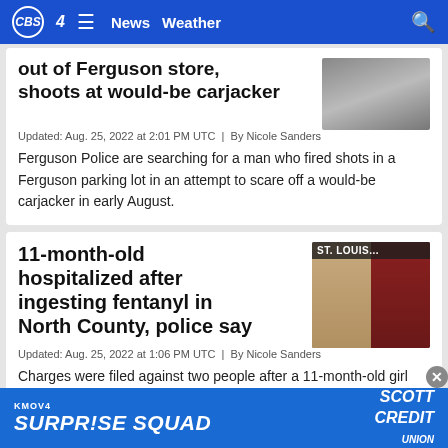CBS 4 | News | Weather
out of Ferguson store, shoots at would-be carjacker
Updated: Aug. 25, 2022 at 2:01 PM UTC  |  By Nicole Sanders
Ferguson Police are searching for a man who fired shots in a Ferguson parking lot in an attempt to scare off a would-be carjacker in early August.
11-month-old hospitalized after ingesting fentanyl in North County, police say
Updated: Aug. 25, 2022 at 1:06 PM UTC  |  By Nicole Sanders
Charges were filed against two people after a 11-month-old girl overdosed on fentanyl in north St. Louis County in ear
[Figure (photo): News thumbnail image for Ferguson store carjacker story]
[Figure (photo): Mugshot photos of two suspects in North County fentanyl case, with ST. LOUIS... badge overlay]